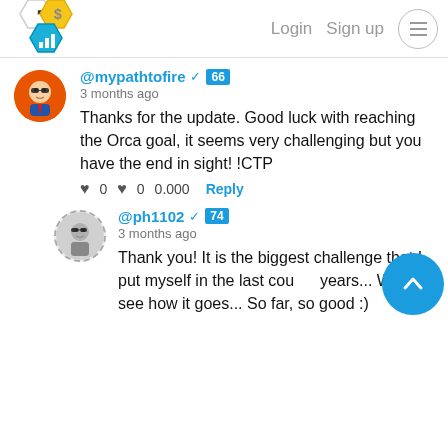Login  Sign up
@mypathtofire ✓ 66
3 months ago
Thanks for the update. Good luck with reaching the Orca goal, it seems very challenging but you have the end in sight! !CTP
0  0  0.000  Reply
@ph1102 ✓ 74
3 months ago
Thank you! It is the biggest challenge that I put myself in the last couple years... We will see how it goes... So far, so good :)